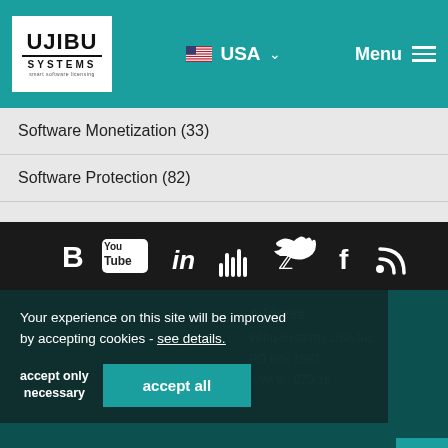WIBU SYSTEMS — USA — Menu
Software Monetization (33)
Software Protection (82)
[Figure (infographic): Social media icons row: Blogger (B), YouTube, LinkedIn (in), SoundCloud wave, Twitter bird, Facebook (f), RSS feed]
Your experience on this site will be improved by accepting cookies - see details.
Address
Wibu-Systems USA Inc.
PO Box 1687
...VA 9...020-16
accept only necessary
accept all